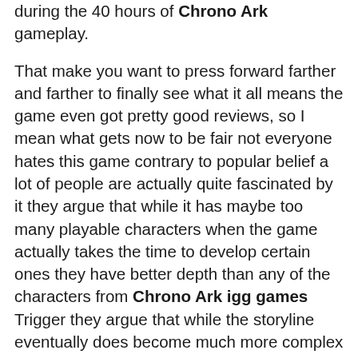during the 40 hours of Chrono Ark gameplay. That make you want to press forward farther and farther to finally see what it all means the game even got pretty good reviews, so I mean what gets now to be fair not everyone hates this game contrary to popular belief a lot of people are actually quite fascinated by it they argue that while it has maybe too many playable characters when the game actually takes the time to develop certain ones they have better depth than any of the characters from Chrono Ark igg games Trigger they argue that while the storyline eventually does become much more complex than anyone is expecting it is possible to understand if you really take the time to study it and then be willing to accept that some things are just not going to be explained or understood and then you can actually be satisfied with the storyline.